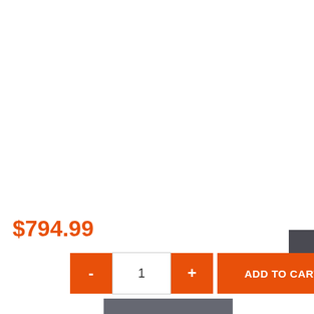$794.99
-
1
+
ADD TO CART
ADD TO WISHLIST